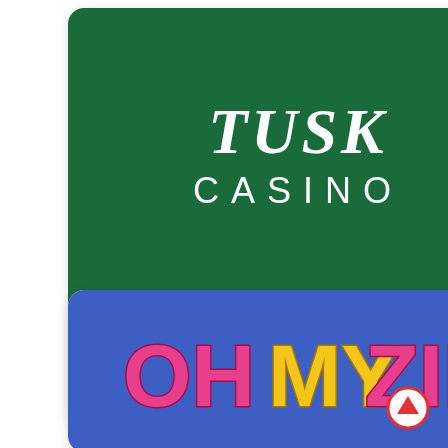[Figure (logo): Tusk Casino card with dark green banner showing TUSK CASINO logo, white card body with casino name and Play Now red button]
[Figure (logo): OhMyZino casino card with blue banner showing OhMyZino colorful logo]